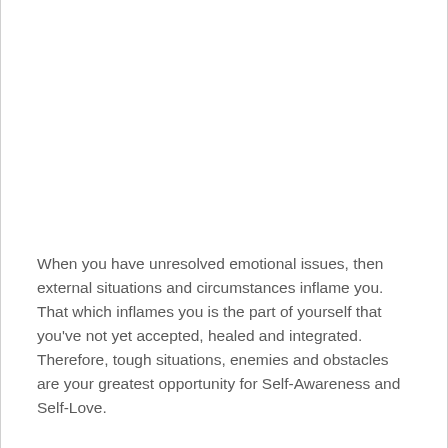When you have unresolved emotional issues, then external situations and circumstances inflame you. That which inflames you is the part of yourself that you've not yet accepted, healed and integrated. Therefore, tough situations, enemies and obstacles are your greatest opportunity for Self-Awareness and Self-Love.